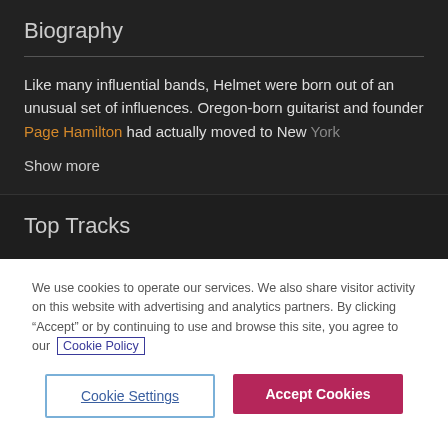Biography
Like many influential bands, Helmet were born out of an unusual set of influences. Oregon-born guitarist and founder Page Hamilton had actually moved to New York
Show more
Top Tracks
We use cookies to operate our services. We also share visitor activity on this website with advertising and analytics partners. By clicking “Accept” or by continuing to use and browse this site, you agree to our Cookie Policy
Cookie Settings
Accept Cookies